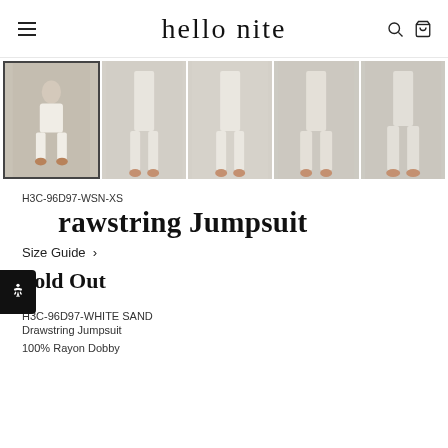hello nite
[Figure (photo): Five thumbnail product photos of a Drawstring Jumpsuit in white sand color showing different angles and poses]
H3C-96D97-WSN-XS
Drawstring Jumpsuit
Size Guide >
Sold Out
H3C-96D97-WHITE SAND
Drawstring Jumpsuit
100% Rayon Dobby